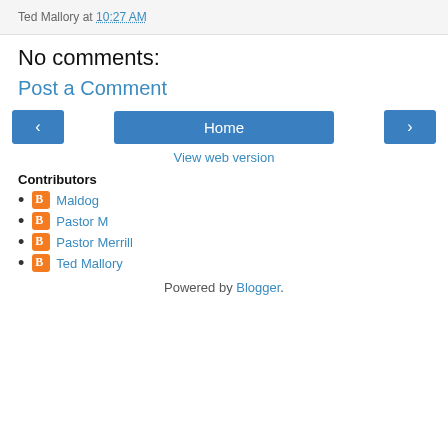Ted Mallory at 10:27 AM
No comments:
Post a Comment
[Figure (other): Navigation bar with left arrow button, Home button, and right arrow button]
View web version
Contributors
Maldog
Pastor M
Pastor Merrill
Ted Mallory
Powered by Blogger.